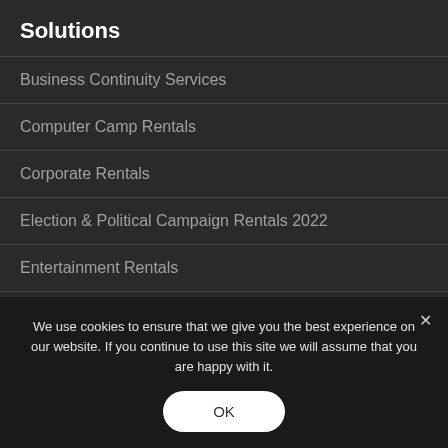Solutions
Business Continuity Services
Computer Camp Rentals
Corporate Rentals
Election & Political Campaign Rentals 2022
Entertainment Rentals
Esports & Gaming Rentals
Event Rentals
We use cookies to ensure that we give you the best experience on our website. If you continue to use this site we will assume that you are happy with it.
OK